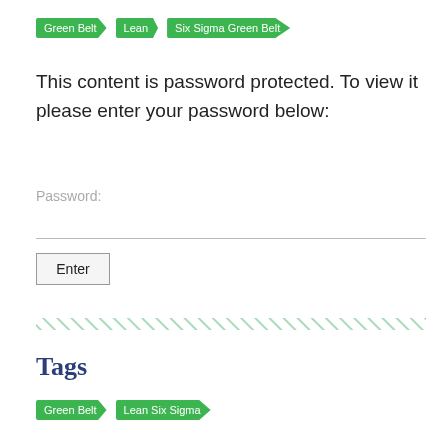Green Belt  Lean  Six Sigma Green Belt
This content is password protected. To view it please enter your password below:
Password:
Enter
Tags
Green Belt  Lean Six Sigma